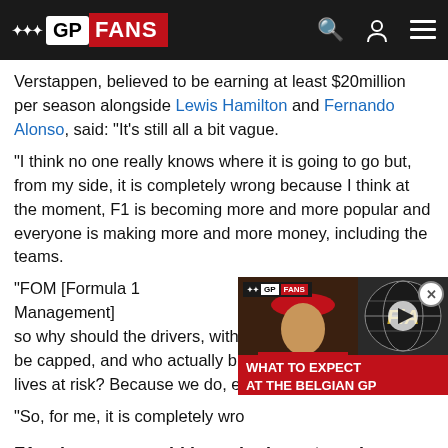GP FANS
Verstappen, believed to be earning at least $20million per season alongside Lewis Hamilton and Fernando Alonso, said: "It's still all a bit vague.
"I think no one really knows where it is going to go but, from my side, it is completely wrong because I think at the moment, F1 is becoming more and more popular and everyone is making more and more money, including the teams.
"FOM [Formula 1 Management] ... so why should the drivers, with their ... be capped, and who actually bri... lives at risk? Because we do, eve...
"So, for me, it is completely wro...
[Figure (screenshot): Video thumbnail showing a Formula 1 driver with a red cap, FIA logo on right, with red banner reading WHAT TO EXPECT AT THE BELGIAN GP]
F1 salary cap would harm junior categories